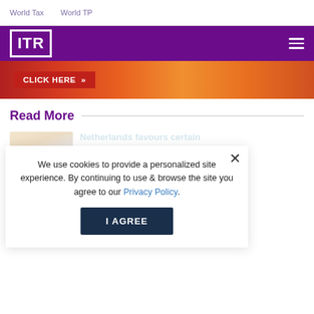World Tax   World TP
[Figure (logo): ITR logo in white on purple background with hamburger menu]
[Figure (other): Banner ad with CLICK HERE >> button on orange/red gradient background]
Read More
[Figure (photo): Article thumbnail image with light tones]
Netherlands favours certain OECD transfer pricing decree
By Lena Angvis, May 24, 2018
[Figure (photo): Article thumbnail image with light blue tones]
Netherlands readies for crackdown on tax avoidance
We use cookies to provide a personalized site experience. By continuing to use & browse the site you agree to our Privacy Policy.
I AGREE